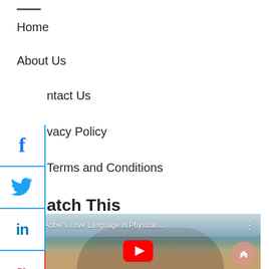—
Home
About Us
Contact Us
Privacy Policy
Terms and Conditions
Watch This
[Figure (screenshot): YouTube video thumbnail showing 'Abbie's Love Language Is Physical ...' from Bachelor channel, with a couple kissing on a beach, red YouTube play button overlay, and scroll-to-top button]